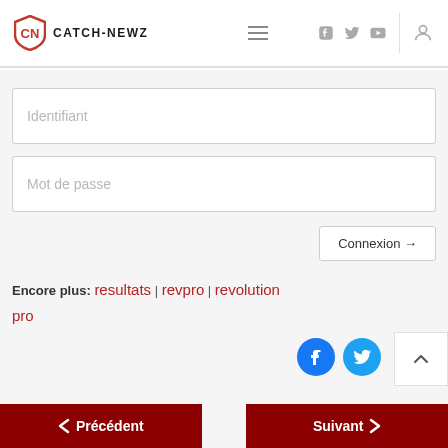CATCH-NEWZ
Identifiant
Mot de passe
Connexion →
Encore plus: resultats | revpro | revolution pro
[Figure (logo): Facebook and Twitter social icons (blue circles)]
Précédent
Suivant